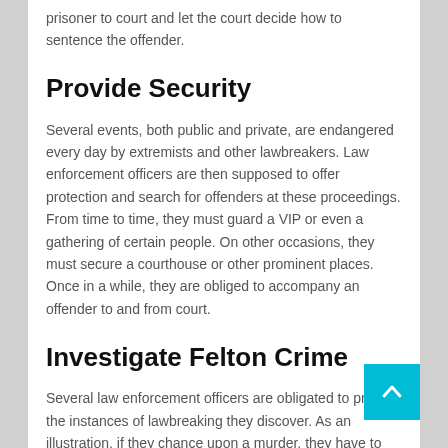prisoner to court and let the court decide how to sentence the offender.
Provide Security
Several events, both public and private, are endangered every day by extremists and other lawbreakers. Law enforcement officers are then supposed to offer protection and search for offenders at these proceedings. From time to time, they must guard a VIP or even a gathering of certain people. On other occasions, they must secure a courthouse or other prominent places. Once in a while, they are obliged to accompany an offender to and from court.
Investigate Felton Crime
Several law enforcement officers are obligated to probe the instances of lawbreaking they discover. As an illustration, if they chance upon a murder, they have to uncover who committed the act and how it occurred. On the other hand, on the off chance that they should discover drugs, they must examine its source. They are supposed to pack all proof that